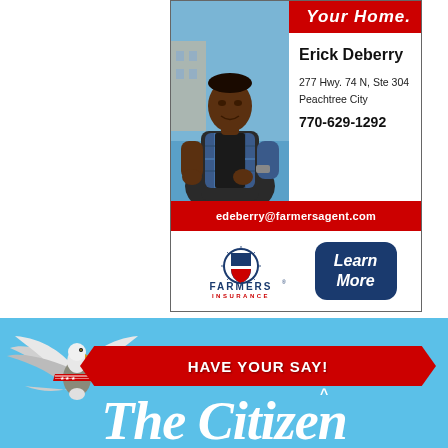[Figure (photo): Farmers Insurance advertisement featuring agent Erick Deberry. Shows a photo of a man outdoors with contact information. Red header strip partially cropped showing 'Your Home'. Red email strip with edeberry@farmersagent.com. Farmers Insurance logo and Learn More button.]
Erick Deberry
277 Hwy. 74 N, Ste 304
Peachtree City
770-629-1292
edeberry@farmersagent.com
[Figure (logo): Farmers Insurance logo with shield emblem]
FARMERS
INSURANCE
Learn More
[Figure (illustration): Bottom light blue banner with bald eagle illustration on left, red ribbon banner saying HAVE YOUR SAY!, and The Citizen newspaper masthead text below in large white italic serif font.]
HAVE YOUR SAY!
The Citizen